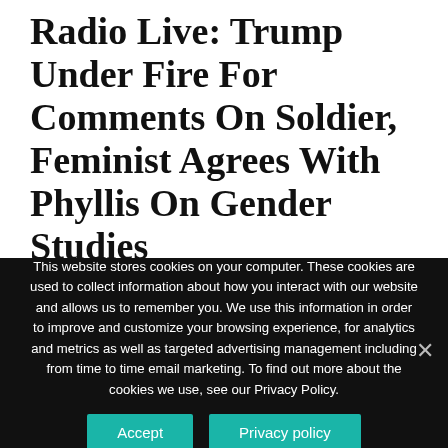Radio Live: Trump Under Fire For Comments On Soldier, Feminist Agrees With Phyllis On Gender Studies
October 19, 2017 by Ed Martin & Cherilyn Eagar
This website stores cookies on your computer. These cookies are used to collect information about how you interact with our website and allows us to remember you. We use this information in order to improve and customize your browsing experience, for analytics and metrics as well as targeted advertising management including from time to time email marketing. To find out more about the cookies we use, see our Privacy Policy.